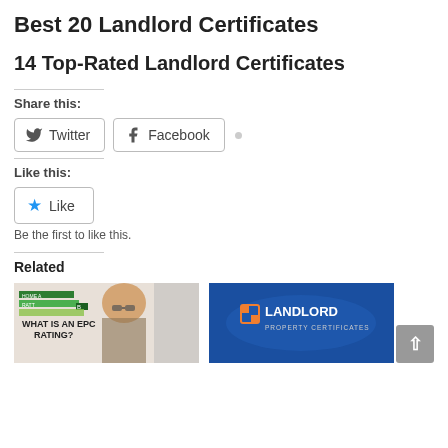Best 20 Landlord Certificates
14 Top-Rated Landlord Certificates
Share this:
[Figure (screenshot): Social share buttons: Twitter and Facebook buttons with icons]
Like this:
[Figure (screenshot): Like button with star icon]
Be the first to like this.
Related
[Figure (photo): Thumbnail image: What is an EPC Rating? with woman wearing glasses and EPC rating chart]
[Figure (logo): Landlord Property Certificates logo on blue background]